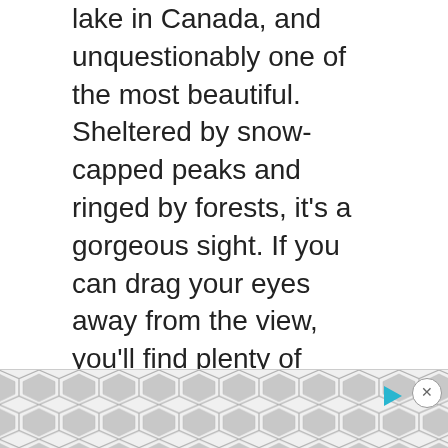lake in Canada, and unquestionably one of the most beautiful. Sheltered by snow-capped peaks and ringed by forests, it's a gorgeous sight. If you can drag your eyes away from the view, you'll find plenty of things to keep you entertained. Hiking is immensely popular in the area, but you really shouldn't miss the chance to scuba dive, either – buried underneath the lake's glistening surface is a flooded ghost village that intrepid divers are free to explore to their heart's content.
[Figure (other): Advertisement banner with geometric hexagon/diamond pattern in gray, play button icon, and close button]